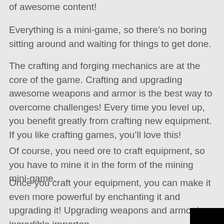of awesome content!
Everything is a mini-game, so there’s no boring sitting around and waiting for things to get done.
The crafting and forging mechanics are at the core of the game. Crafting and upgrading awesome weapons and armor is the best way to overcome challenges! Every time you level up, you benefit greatly from crafting new equipment. If you like crafting games, you’ll love this!
Of course, you need ore to craft equipment, so you have to mine it in the form of the mining mini-game.
Once you craft your equipment, you can make it even more powerful by enchanting it and upgrading it! Upgrading weapons and armor is incredible importan